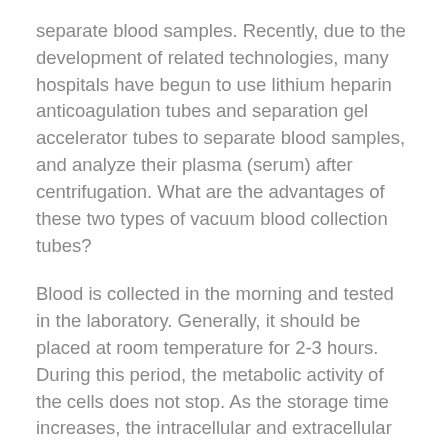separate blood samples. Recently, due to the development of related technologies, many hospitals have begun to use lithium heparin anticoagulation tubes and separation gel accelerator tubes to separate blood samples, and analyze their plasma (serum) after centrifugation. What are the advantages of these two types of vacuum blood collection tubes?
Blood is collected in the morning and tested in the laboratory. Generally, it should be placed at room temperature for 2-3 hours. During this period, the metabolic activity of the cells does not stop. As the storage time increases, the intracellular and extracellular substances transfer. Serum separation gel is a viscous fluid with a specific gravity of 1.05, which is between serum (1.02) and blood clot (1.08). Its structure contains a large number of hydrogen bonds. The association of